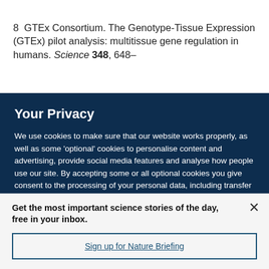8  GTEx Consortium. The Genotype-Tissue Expression (GTEx) pilot analysis: multitissue gene regulation in humans. Science 348, 648–
Your Privacy
We use cookies to make sure that our website works properly, as well as some 'optional' cookies to personalise content and advertising, provide social media features and analyse how people use our site. By accepting some or all optional cookies you give consent to the processing of your personal data, including transfer to third parties, some in countries outside of the European Economic Area that do not offer the same data protection standards as the country where you live. You can decide which optional cookies to accept by clicking on 'Manage Settings', where you can
Get the most important science stories of the day, free in your inbox.
Sign up for Nature Briefing